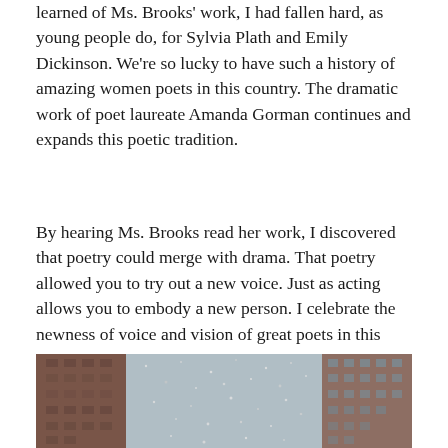learned of Ms. Brooks' work, I had fallen hard, as young people do, for Sylvia Plath and Emily Dickinson. We're so lucky to have such a history of amazing women poets in this country. The dramatic work of poet laureate Amanda Gorman continues and expands this poetic tradition.
By hearing Ms. Brooks read her work, I discovered that poetry could merge with drama. That poetry allowed you to try out a new voice. Just as acting allows you to embody a new person. I celebrate the newness of voice and vision of great poets in this country.
[Figure (photo): Photograph looking up between two tall brick/stone buildings toward a grey overcast sky, with snow or particles visible in the air.]